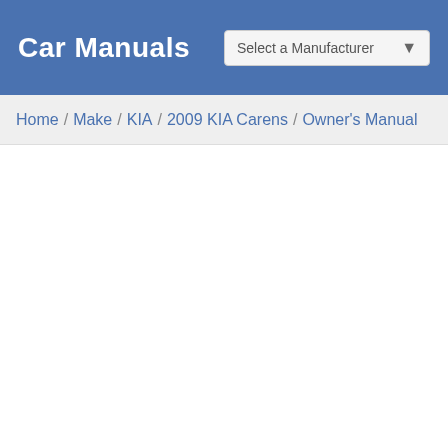Car Manuals
Select a Manufacturer
Home / Make / KIA / 2009 KIA Carens / Owner's Manual